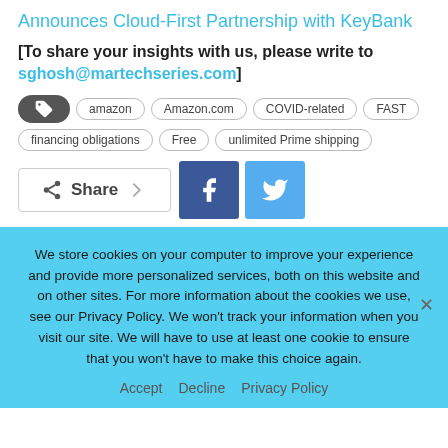Announces Cloud-First Partnership with KeyBank
[To share your insights with us, please write to sghosh@martechseries.com]
Tags: amazon, Amazon.com, COVID-related, FAST, financing obligations, Free, unlimited Prime shipping
[Figure (infographic): Share buttons row with Share label, Facebook icon button, and Twitter icon button]
We store cookies on your computer to improve your experience and provide more personalized services, both on this website and on other sites. For more information about the cookies we use, see our Privacy Policy. We won't track your information when you visit our site. We will have to use at least one cookie to ensure that you won't have to make this choice again.
Accept   Decline   Privacy Policy